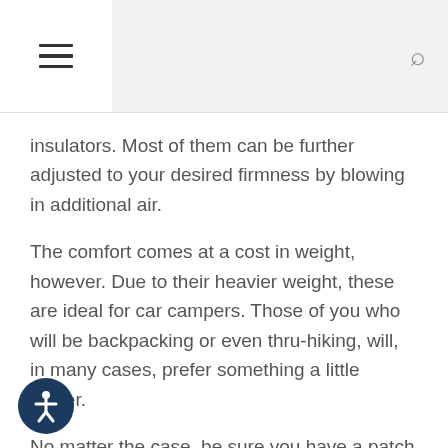≡  🔍
insulators. Most of them can be further adjusted to your desired firmness by blowing in additional air.
The comfort comes at a cost in weight, however. Due to their heavier weight, these are ideal for car campers. Those of you who will be backpacking or even thru-hiking, will, in many cases, prefer something a little lighter.
No matter the case, be sure you have a patch kit, as these can tear. Especially if you're camping with kids and pets.
You'll find self-inflating pads that work for